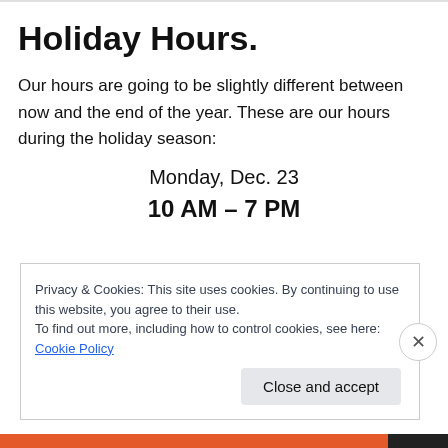Holiday Hours.
Our hours are going to be slightly different between now and the end of the year. These are our hours during the holiday season:
Monday, Dec. 23
10 AM – 7 PM
Privacy & Cookies: This site uses cookies. By continuing to use this website, you agree to their use.
To find out more, including how to control cookies, see here: Cookie Policy
Close and accept